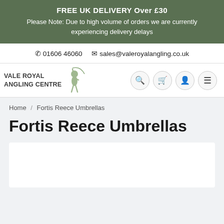FREE UK DELIVERY Over £30
Please Note: Due to high volume of orders we are currently experiencing delivery delays
📞 01606 46060  ✉ sales@valeroyalangling.co.uk
[Figure (logo): Vale Royal Angling Centre logo with text and fishing figure silhouette]
Home / Fortis Reece Umbrellas
Fortis Reece Umbrellas
[Figure (photo): Product card area (white card, partially visible at bottom of page)]